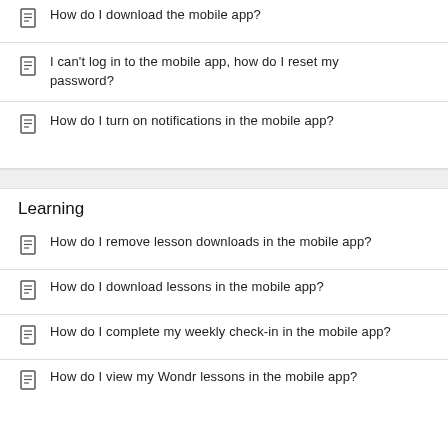How do I download the mobile app?
I can't log in to the mobile app, how do I reset my password?
How do I turn on notifications in the mobile app?
Learning
How do I remove lesson downloads in the mobile app?
How do I download lessons in the mobile app?
How do I complete my weekly check-in in the mobile app?
How do I view my Wondr lessons in the mobile app?